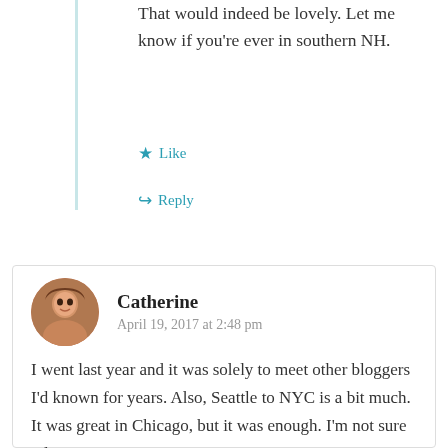That would indeed be lovely. Let me know if you're ever in southern NH.
Like
Reply
Catherine
April 19, 2017 at 2:48 pm
I went last year and it was solely to meet other bloggers I'd known for years. Also, Seattle to NYC is a bit much. It was great in Chicago, but it was enough. I'm not sure I'd go again.

I didn't know they changed guidelines and pricing!